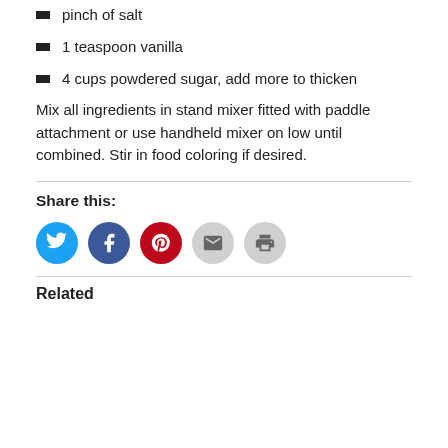pinch of salt
1 teaspoon vanilla
4 cups powdered sugar, add more to thicken
Mix all ingredients in stand mixer fitted with paddle attachment or use handheld mixer on low until combined. Stir in food coloring if desired.
Share this:
[Figure (infographic): Row of five circular social share buttons: Twitter (blue), Facebook (dark blue), Pinterest (red), Email (light gray), Print (light gray)]
Related